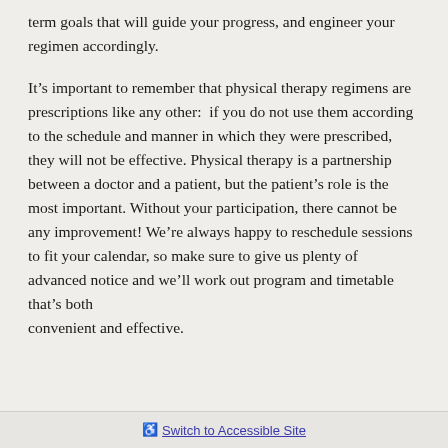term goals that will guide your progress, and engineer your regimen accordingly.
It’s important to remember that physical therapy regimens are prescriptions like any other:  if you do not use them according to the schedule and manner in which they were prescribed, they will not be effective. Physical therapy is a partnership between a doctor and a patient, but the patient’s role is the most important. Without your participation, there cannot be any improvement! We’re always happy to reschedule sessions to fit your calendar, so make sure to give us plenty of advanced notice and we’ll work out program and timetable that’s both convenient and effective.
Switch to Accessible Site